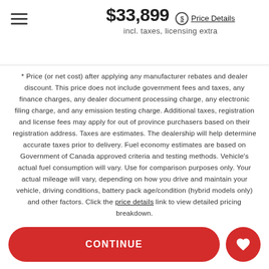$33,899 incl. taxes, licensing extra — Price Details
* Price (or net cost) after applying any manufacturer rebates and dealer discount. This price does not include government fees and taxes, any finance charges, any dealer document processing charge, any electronic filing charge, and any emission testing charge. Additional taxes, registration and license fees may apply for out of province purchasers based on their registration address. Taxes are estimates. The dealership will help determine accurate taxes prior to delivery. Fuel economy estimates are based on Government of Canada approved criteria and testing methods. Vehicle's actual fuel consumption will vary. Use for comparison purposes only. Your actual mileage will vary, depending on how you drive and maintain your vehicle, driving conditions, battery pack age/condition (hybrid models only) and other factors. Click the price details link to view detailed pricing breakdown.
CONTINUE